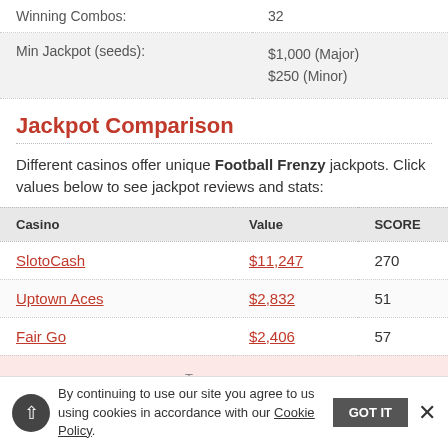| Winning Combos: | 32 |
| Min Jackpot (seeds): | $1,000 (Major)
$250 (Minor) |
Jackpot Comparison
Different casinos offer unique Football Frenzy jackpots. Click values below to see jackpot reviews and stats:
| Casino | Value | SCORE |
| --- | --- | --- |
| SlotoCash | $11,247 | 270 |
| Uptown Aces | $2,832 | 51 |
| Fair Go | $2,406 | 57 |
By continuing to use our site you agree to us using cookies in accordance with our Cookie Policy.